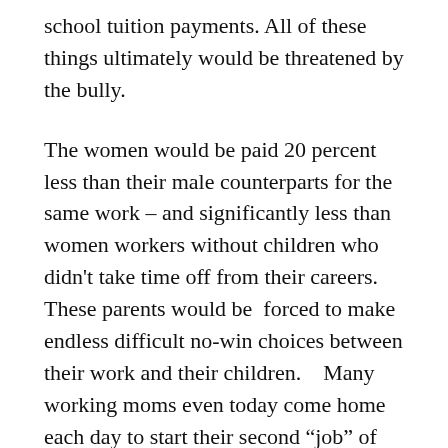school tuition payments. All of these things ultimately would be threatened by the bully.
The women would be paid 20 percent less than their male counterparts for the same work – and significantly less than women workers without children who didn't take time off from their careers. These parents would be  forced to make endless difficult no-win choices between their work and their children.   Many working moms even today come home each day to start their second “job” of running the household – making dinner, cleaning, and taking care of the kids.
Let’s get real.  Half of all relationships end in